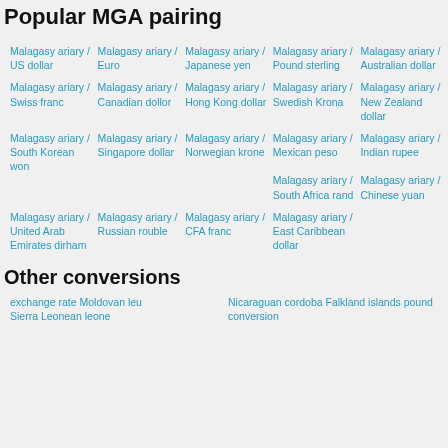Popular MGA pairing
Malagasy ariary / US dollar
Malagasy ariary / Euro
Malagasy ariary / Japanese yen
Malagasy ariary / Pound sterling
Malagasy ariary / Australian dollar
Malagasy ariary / Swiss franc
Malagasy ariary / Canadian dollor
Malagasy ariary / Hong Kong dollar
Malagasy ariary / Swedish Krona
Malagasy ariary / New Zealand dollar
Malagasy ariary / South Korean won
Malagasy ariary / Singapore dollar
Malagasy ariary / Norwegian krone
Malagasy ariary / Mexican peso
Malagasy ariary / Indian rupee
Malagasy ariary / South Africa rand
Malagasy ariary / Chinese yuan
Malagasy ariary / United Arab Emirates dirham
Malagasy ariary / Russian rouble
Malagasy ariary / CFA franc
Malagasy ariary / East Caribbean dollar
Other conversions
exchange rate Moldovan leu
Sierra Leonean leone
Nicaraguan cordoba Falkland islands pound conversion